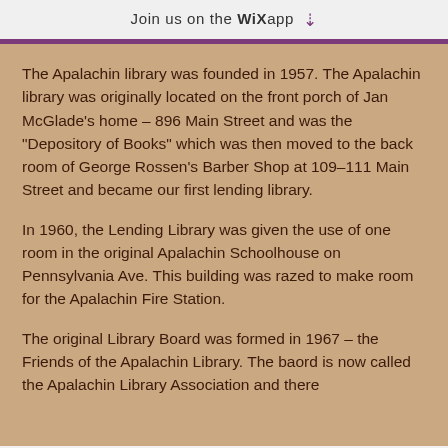Join us on the WiX app ↓
The Apalachin library was founded in 1957. The Apalachin library was originally located on the front porch of Jan McGlade's home – 896 Main Street and was the "Depository of Books" which was then moved to the back room of George Rossen's Barber Shop at 109–111 Main Street and became our first lending library.
In 1960, the Lending Library was given the use of one room in the original Apalachin Schoolhouse on Pennsylvania Ave. This building was razed to make room for the Apalachin Fire Station.
The original Library Board was formed in 1967 – the Friends of the Apalachin Library. The baord is now called the Apalachin Library Association and there